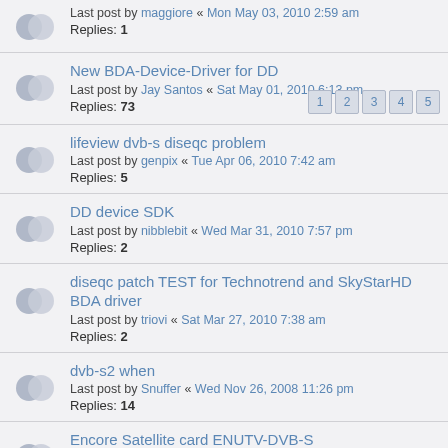Last post by maggiore « Mon May 03, 2010 2:59 am
Replies: 1
New BDA-Device-Driver for DD
Last post by Jay Santos « Sat May 01, 2010 6:13 pm
Replies: 73
Pages: 1 2 3 4 5
lifeview dvb-s diseqc problem
Last post by genpix « Tue Apr 06, 2010 7:42 am
Replies: 5
DD device SDK
Last post by nibblebit « Wed Mar 31, 2010 7:57 pm
Replies: 2
diseqc patch TEST for Technotrend and SkyStarHD BDA driver
Last post by triovi « Sat Mar 27, 2010 7:38 am
Replies: 2
dvb-s2 when
Last post by Snuffer « Wed Nov 26, 2008 11:26 pm
Replies: 14
Encore Satellite card ENUTV-DVB-S
Last post by Fox « Thu Sep 11, 2008 11:10 am
Replies: 1
how can i use DD on pci DVB-S DM1105